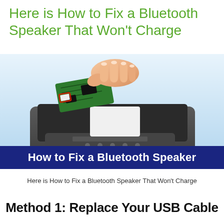Here is How to Fix a Bluetooth Speaker That Won't Charge
[Figure (photo): A hand holding a green circuit board being removed from an open dark grey Bluetooth speaker enclosure. A small red rectangle highlights a component on the circuit board. The speaker sits on a light blue background.]
How to Fix a Bluetooth Speaker
Here is How to Fix a Bluetooth Speaker That Won't Charge
Method 1: Replace Your USB Cable